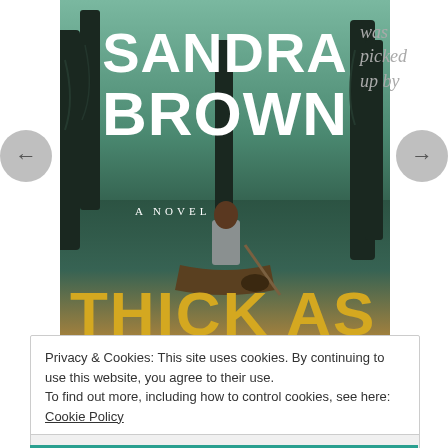[Figure (illustration): Book cover for 'Thick as...' by Sandra Brown — a novel. Dark atmospheric swamp scene with cypress trees and Spanish moss. A person in a canoe or small boat is seen from behind paddling through the water. Large white bold text reads 'SANDRA BROWN' at the top, 'A NOVEL' in small caps, and 'THICK AS' in golden/yellow text at the bottom.]
was picked up by
Privacy & Cookies: This site uses cookies. By continuing to use this website, you agree to their use.
To find out more, including how to control cookies, see here: Cookie Policy
Close and accept